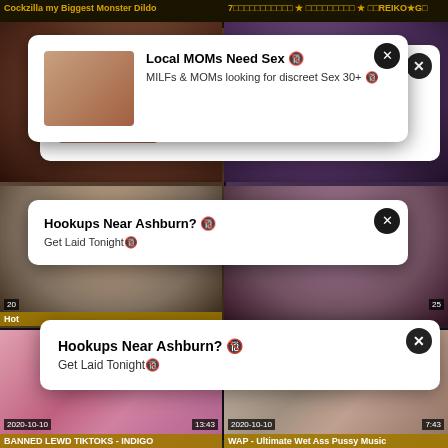[Figure (screenshot): Video thumbnail grid with two ad overlays on an adult video website]
Cockzilla my Biggest Monster Dildo
7★REIKO★G
Local MOMs Need Sex 🔞
MILFs & MOMs looking for discreet Sex 30+ 🔞
Hookups Near Ashburn? 🔞
Get Laid Tonight🔞
BANNED LEWD TIKTOKS - INDIGO
WAP - Ultimate Wet Ass Pussy Music